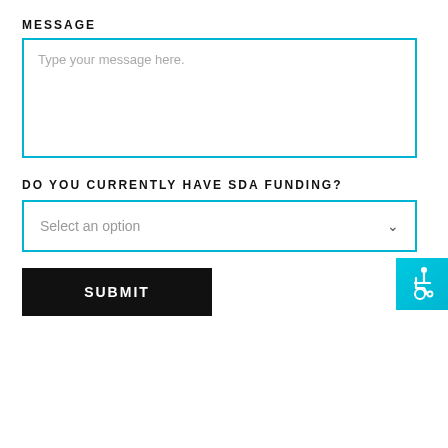MESSAGE
Type your message here.
DO YOU CURRENTLY HAVE SDA FUNDING?
Select an option
SUBMIT
[Figure (illustration): Accessibility wheelchair icon button, teal/cyan gradient background, bottom right corner]